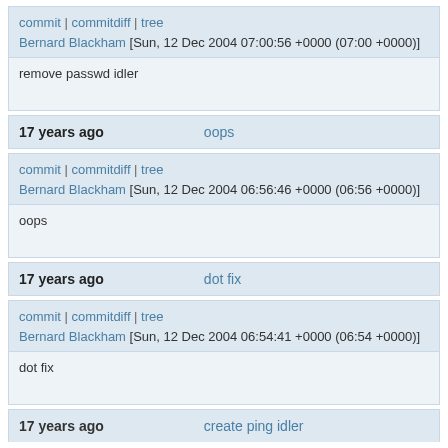commit | commitdiff | tree
Bernard Blackham [Sun, 12 Dec 2004 07:00:56 +0000 (07:00 +0000)]
remove passwd idler
17 years ago   oops
commit | commitdiff | tree
Bernard Blackham [Sun, 12 Dec 2004 06:56:46 +0000 (06:56 +0000)]
oops
17 years ago   dot fix
commit | commitdiff | tree
Bernard Blackham [Sun, 12 Dec 2004 06:54:41 +0000 (06:54 +0000)]
dot fix
17 years ago   create ping idler